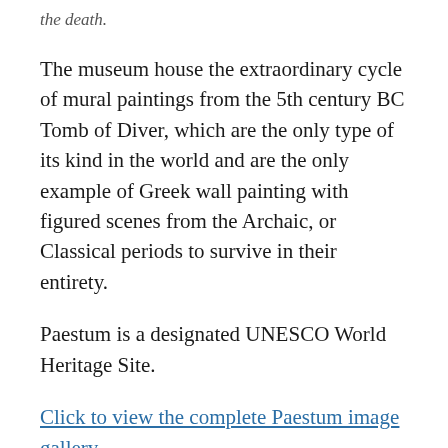the death.
The museum house the extraordinary cycle of mural paintings from the 5th century BC Tomb of Diver, which are the only type of its kind in the world and are the only example of Greek wall painting with figured scenes from the Archaic, or Classical periods to survive in their entirety.
Paestum is a designated UNESCO World Heritage Site.
Click to view the complete Paestum image gallery
All images, text and content are